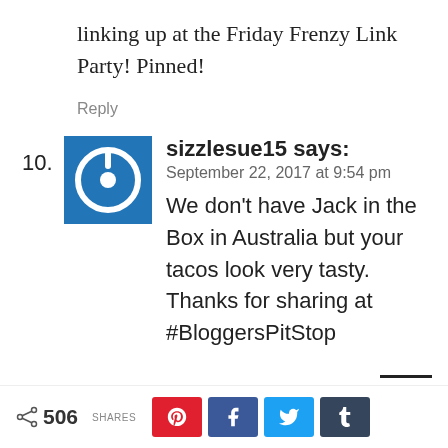linking up at the Friday Frenzy Link Party! Pinned!
Reply
10. sizzlesue15 says:
September 22, 2017 at 9:54 pm
We don't have Jack in the Box in Australia but your tacos look very tasty. Thanks for sharing at #BloggersPitStop
< 506 SHARES